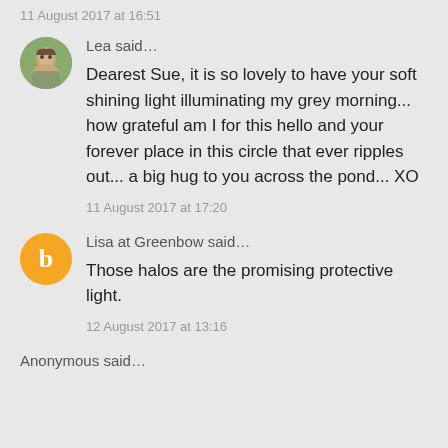11 August 2017 at 16:51
Lea said…
Dearest Sue, it is so lovely to have your soft shining light illuminating my grey morning... how grateful am I for this hello and your forever place in this circle that ever ripples out... a big hug to you across the pond... XO
11 August 2017 at 17:20
Lisa at Greenbow said…
Those halos are the promising protective light.
12 August 2017 at 13:16
Anonymous said…